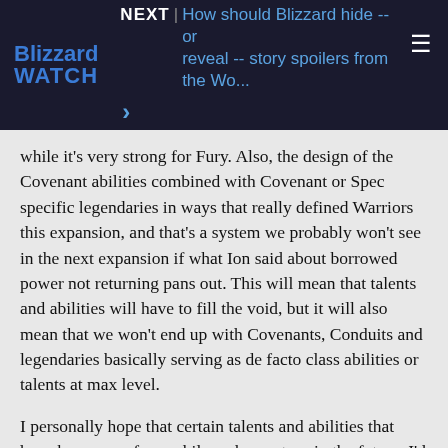Blizzard WATCH | NEXT | How should Blizzard hide -- or reveal -- story spoilers from the Wo... >
while it's very strong for Fury. Also, the design of the Covenant abilities combined with Covenant or Spec specific legendaries in ways that really defined Warriors this expansion, and that's a system we probably won't see in the next expansion if what Ion said about borrowed power not returning pans out. This will mean that talents and abilities will have to fill the void, but it will also mean that we won't end up with Covenants, Conduits and legendaries basically serving as de facto class abilities or talents at max level.
I personally hope that certain talents and abilities that have been gone for a while make a return in the future. I'd like to see stances return for Warriors — maybe not as they were before, with a dedicated Tanking stance and two basically DPS specs. but instead a more situational